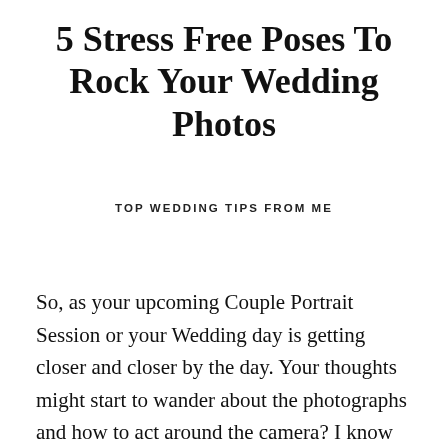5 Stress Free Poses To Rock Your Wedding Photos
TOP WEDDING TIPS FROM ME
So, as your upcoming Couple Portrait Session or your Wedding day is getting closer and closer by the day. Your thoughts might start to wander about the photographs and how to act around the camera? I know many of my couples want to have photographs of their big